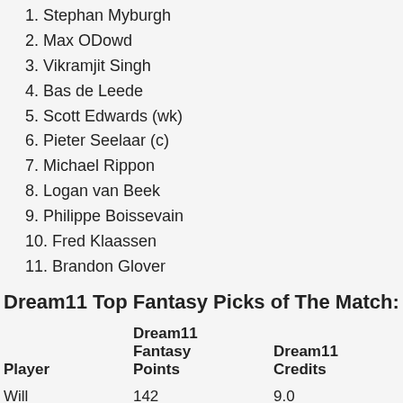1. Stephan Myburgh
2. Max ODowd
3. Vikramjit Singh
4. Bas de Leede
5. Scott Edwards (wk)
6. Pieter Seelaar (c)
7. Michael Rippon
8. Logan van Beek
9. Philippe Boissevain
10. Fred Klaassen
11. Brandon Glover
Dream11 Top Fantasy Picks of The Match:
| Player | Dream11 Fantasy Points | Dream11 Credits |
| --- | --- | --- |
| Will Young | 142 | 9.0 |
| Tom | 214 | 9.5 |